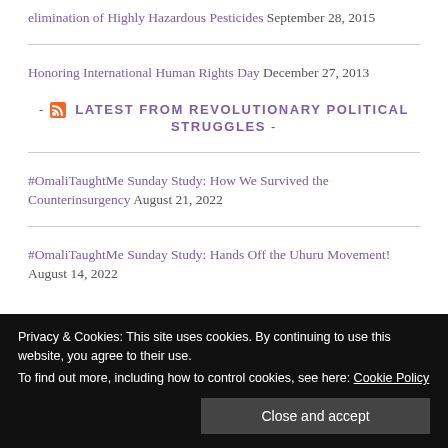elimination of Highly Hazardous Pesticides September 28, 2015
Honoring International Human Rights Day December 27, 2013
- LATEST FROM REVOLUTIONARY POLITICAL STRUGGLES -
#OmaliTaughtMe Sunday Study: How We Survived the Counterinsurgency August 21, 2022
#OmaliTaughtMe Sunday Study: Hands Off the Uhuru Movement! August 14, 2022
Privacy & Cookies: This site uses cookies. By continuing to use this website, you agree to their use. To find out more, including how to control cookies, see here: Cookie Policy